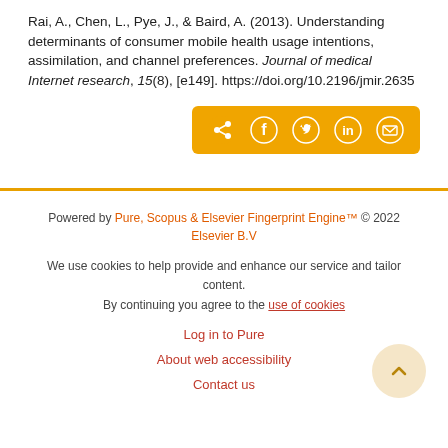Rai, A., Chen, L., Pye, J., & Baird, A. (2013). Understanding determinants of consumer mobile health usage intentions, assimilation, and channel preferences. Journal of medical Internet research, 15(8), [e149]. https://doi.org/10.2196/jmir.2635
[Figure (other): Social share buttons bar with icons for share, Facebook, Twitter, LinkedIn, and email on a golden/orange background]
Powered by Pure, Scopus & Elsevier Fingerprint Engine™ © 2022 Elsevier B.V

We use cookies to help provide and enhance our service and tailor content. By continuing you agree to the use of cookies

Log in to Pure

About web accessibility

Contact us